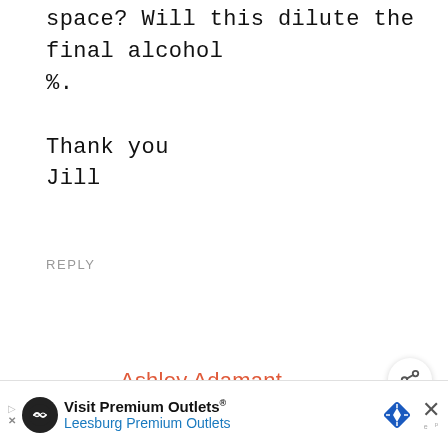space? Will this dilute the final alcohol %.
Thank you
Jill
REPLY
Ashley Adamant
February 28, 2020 at 2:05 am
Yes, you can add apple juice to the
[Figure (other): Advertisement banner: Visit Premium Outlets® Leesburg Premium Outlets with navigation arrow icon and diamond road sign icon, close button]
[Figure (other): Share button (circular icon with share symbol) and What's Next panel showing Canning Peaches... with peach image thumbnail]